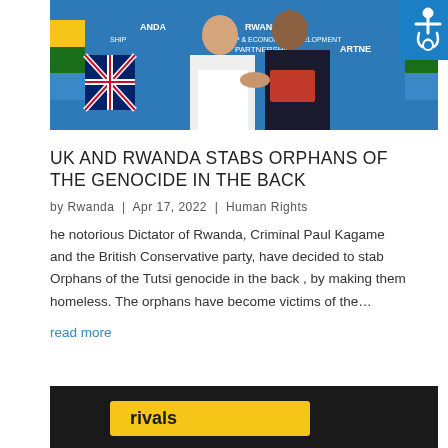[Figure (photo): Two officials shaking hands in front of UK-Rwanda Partnership banner, with flags of UK and Rwanda visible. One person in white jacket, one in dark suit holding a red folder.]
UK AND RWANDA STABS ORPHANS OF THE GENOCIDE IN THE BACK
by Rwanda | Apr 17, 2022 | Human Rights
he notorious Dictator of Rwanda, Criminal Paul Kagame and the British Conservative party, have decided to stab Orphans of the Tutsi genocide in the back , by making them homeless. The orphans have become victims of the…
read more
[Figure (photo): Bottom of page showing partial image with yellow 'arrivals' sign text visible.]